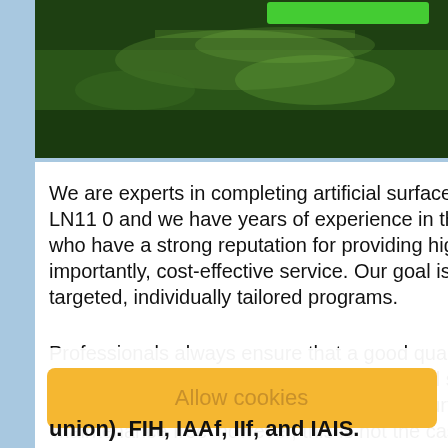[Figure (photo): Aerial or close-up photo of green artificial turf / grass surface with dark green tones and some lighter reflective patches]
We are experts in completing artificial surface maintenance in LN11 0 and we have years of experience in the industry who have a strong reputation for providing high-quality and, importantly, cost-effective service. Our goal is to provide targeted, individually tailored programs.
Professionals always ensure that a good quality upkeep programme begin immediately after installing an artificial sports surface across the UK supply and install synthetic turf pitches call them 'maintenance free' however, this is not the case.
By thoroughly maintaining your surface, it can dramatically the life of synthetic fibres whilst ensuring it works to the highest standard.
Allow cookies
union), FIH, IAAf, IIf, and IAIS.